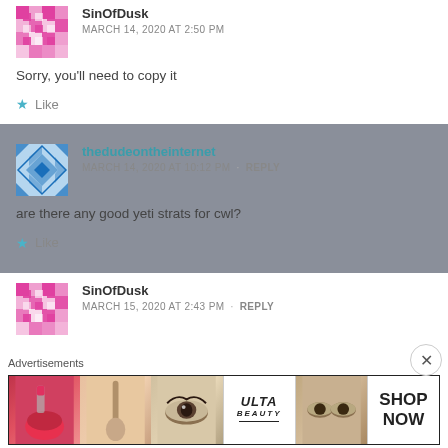SinOfDusk
MARCH 14, 2020 AT 2:50 PM
Sorry, you'll need to copy it
Like
thedudeontheinternet
MARCH 14, 2020 AT 10:12 PM · REPLY
are there any good yeti strats for cwl?
Like
SinOfDusk
MARCH 15, 2020 AT 2:43 PM · REPLY
Advertisements
[Figure (photo): ULTA Beauty advertisement banner showing makeup products and models with text SHOP NOW]